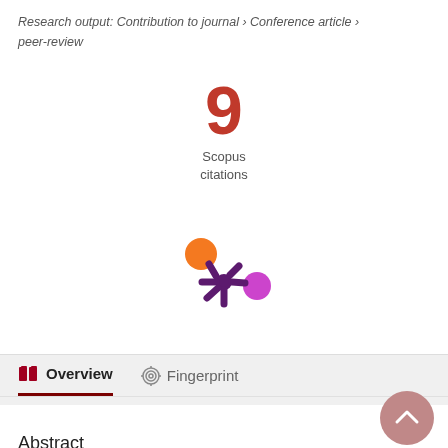Research output: Contribution to journal › Conference article › peer-review
[Figure (infographic): Large red number 9 with 'Scopus citations' label below in gray text]
[Figure (logo): Altmetric logo — colorful asterisk/snowflake symbol with orange, purple, and pink circles]
Overview   Fingerprint
Abstract